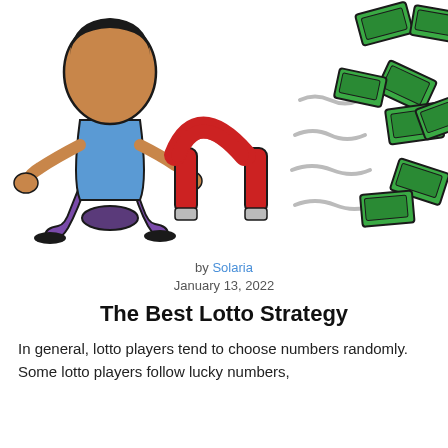[Figure (illustration): Cartoon illustration of a person wearing a blue shirt and purple pants holding a large red horseshoe magnet, attracting flying green dollar bills/money from the right side, with grey wavy lines suggesting magnetic force between them.]
by Solaria
January 13, 2022
The Best Lotto Strategy
In general, lotto players tend to choose numbers randomly. Some lotto players follow lucky numbers, and some of birth like their birth date or anniversary to...